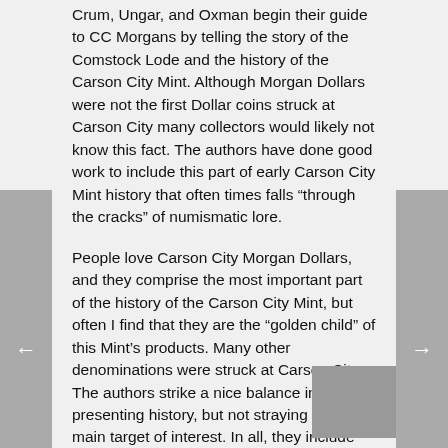Crum, Ungar, and Oxman begin their guide to CC Morgans by telling the story of the Comstock Lode and the history of the Carson City Mint. Although Morgan Dollars were not the first Dollar coins struck at Carson City many collectors would likely not know this fact. The authors have done good work to include this part of early Carson City Mint history that often times falls “through the cracks” of numismatic lore.
People love Carson City Morgan Dollars, and they comprise the most important part of the history of the Carson City Mint, but often I find that they are the “golden child” of this Mint’s products. Many other denominations were struck at Carson City. The authors strike a nice balance in presenting history, but not straying from the main target of interest. In all, they include two chapters of history and background. More than most Morgan references.
Concisely written but not at all dry, this book is so fact-rich that I have found many interesting details that appeal to my researcher side. It’s not just a gloss-over text or a book of super-basic, commonly known information. This book gives tells